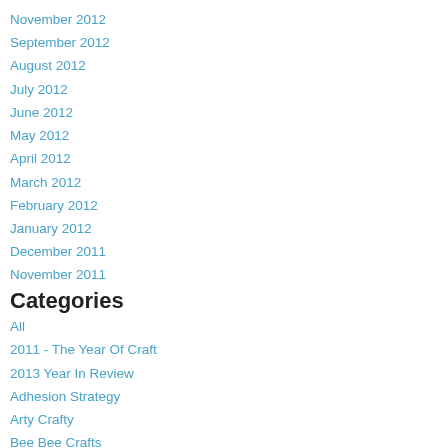November 2012
September 2012
August 2012
July 2012
June 2012
May 2012
April 2012
March 2012
February 2012
January 2012
December 2011
November 2011
Categories
All
2011 - The Year Of Craft
2013 Year In Review
Adhesion Strategy
Arty Crafty
Bee Bee Crafts
Begin Again